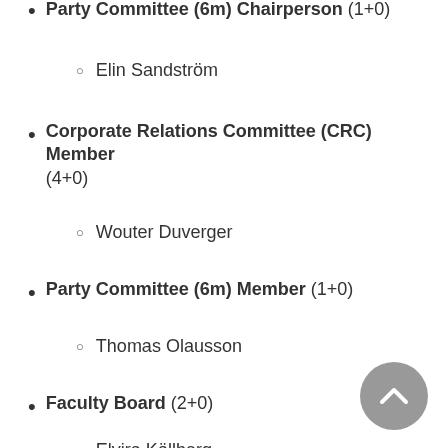Party Committee (6m) Chairperson (1+0)
Elin Sandström
Corporate Relations Committee (CRC) Member (4+0)
Wouter Duverger
Party Committee (6m) Member (1+0)
Thomas Olausson
Faculty Board (2+0)
Elvira Källberg
Faculty Education Board (2+3)